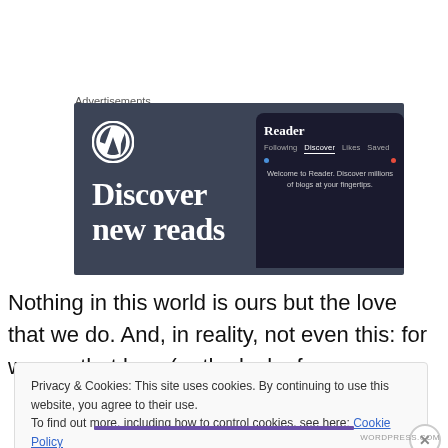Advertisements
[Figure (screenshot): WordPress Reader advertisement banner showing WordPress logo, 'Discover new reads' text on dark background, with a phone mockup showing Reader interface with 'Following', 'Discover', 'Likes', 'Saved' tabs and text 'Welcome to Reader. Discover millions of blogs at your fingertips.']
Nothing in this world is ours but the love that we do. And, in reality, not even this: for we are that love (or the lack of
Privacy & Cookies: This site uses cookies. By continuing to use this website, you agree to their use.
To find out more, including how to control cookies, see here: Cookie Policy
Close and accept